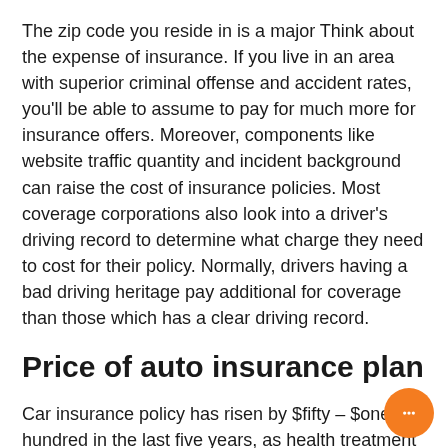The zip code you reside in is a major Think about the expense of insurance. If you live in an area with superior criminal offense and accident rates, you'll be able to assume to pay for much more for insurance offers. Moreover, components like website traffic quantity and incident background can raise the cost of insurance policies. Most coverage corporations also look into a driver's driving record to determine what charge they need to cost for their policy. Normally, drivers having a bad driving heritage pay additional for coverage than those which has a clear driving record.
Price of auto insurance plan
Car insurance policy has risen by $fifty – $one hundred in the last five years, as health treatment costs have already been expanding. Drivers can also be required to have uninsured and PIP insurance coverage, which happen to be over-average state specifications. A lot of states only ne... liability insurance policies, but No one is content to t...